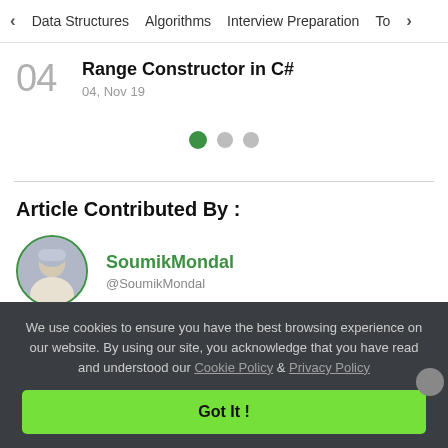‹ Data Structures   Algorithms   Interview Preparation   To›
04  Range Constructor in C#
04, Nov 19
[Figure (other): Three pagination dots: first dot is green (active), second and third are grey (inactive)]
Article Contributed By :
[Figure (photo): Circular avatar photo of SoumikMondal with green border]
SoumikMondal
@SoumikMondal
We use cookies to ensure you have the best browsing experience on our website. By using our site, you acknowledge that you have read and understood our Cookie Policy & Privacy Policy
Got It !